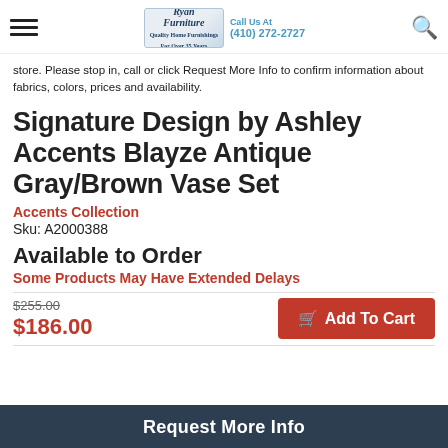Ryan Furniture | Call Us At (410) 272-2727
store. Please stop in, call or click Request More Info to confirm information about fabrics, colors, prices and availability.
Signature Design by Ashley Accents Blayze Antique Gray/Brown Vase Set
Accents Collection
Sku: A2000388
Available to Order
Some Products May Have Extended Delays
$255.00
$186.00
Add To Cart
Request More Info